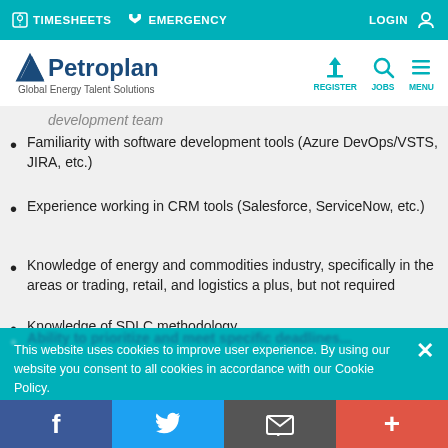TIMESHEETS  EMERGENCY  LOGIN
[Figure (logo): Petroplan Global Energy Talent Solutions logo with navigation icons for REGISTER, JOBS, MENU]
development team
Familiarity with software development tools (Azure DevOps/VSTS, JIRA, etc.)
Experience working in CRM tools (Salesforce, ServiceNow, etc.)
Knowledge of energy and commodities industry, specifically in the areas or trading, retail, and logistics a plus, but not required
Knowledge of SDLC methodology
This website uses cookies to improve user experience. By using our website you consent to all cookies in accordance with our Cookie Policy. Read more
SHOW DETAILS
f  Twitter  Email  +